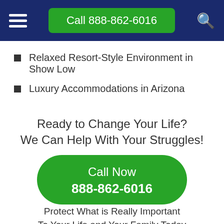Call 888-862-6016
Relaxed Resort-Style Environment in Show Low
Luxury Accommodations in Arizona
Ready to Change Your Life? We Can Help With Your Struggles!
Call Now 888-862-6016
Protect What is Really Important To Your Life and Your Family Today